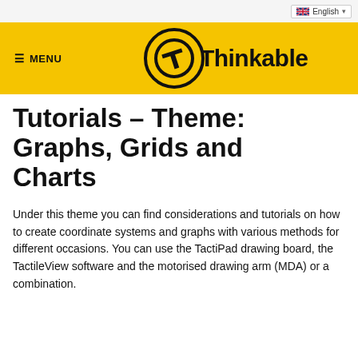English
[Figure (logo): Thinkable logo with yellow navigation bar, hamburger menu icon and MENU text, circular T logo, and Thinkable brand name in bold black text on yellow background]
Tutorials – Theme: Graphs, Grids and Charts
Under this theme you can find considerations and tutorials on how to create coordinate systems and graphs with various methods for different occasions. You can use the TactiPad drawing board, the TactileView software and the motorised drawing arm (MDA) or a combination.